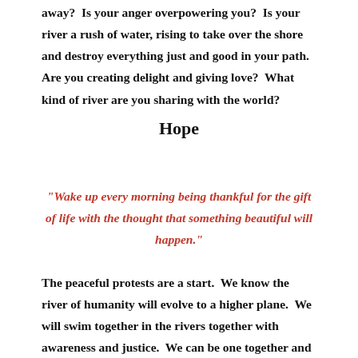away?  Is your anger overpowering you?  Is your river a rush of water, rising to take over the shore and destroy everything just and good in your path.  Are you creating delight and giving love?  What kind of river are you sharing with the world?
Hope
"Wake up every morning being thankful for the gift of life with the thought that something beautiful will happen."
The peaceful protests are a start.  We know the river of humanity will evolve to a higher plane.  We will swim together in the rivers together with awareness and justice.  We can be one together and hate will be lifted.  Let us hope and pray that this happens and that new endeavors for the betterment of mankind will be put into